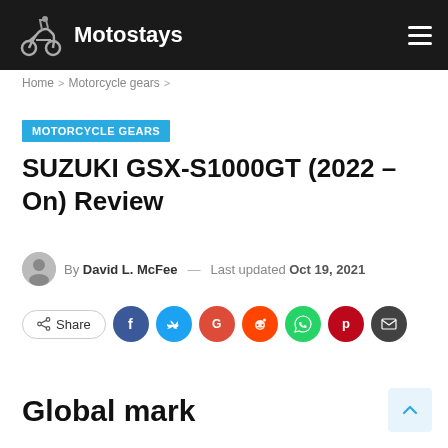Motostays
Home > Motorcycle gears >
MOTORCYCLE GEARS
SUZUKI GSX-S1000GT (2022 – On) Review
By David L. McFee — Last updated Oct 19, 2021
Share
Global mark